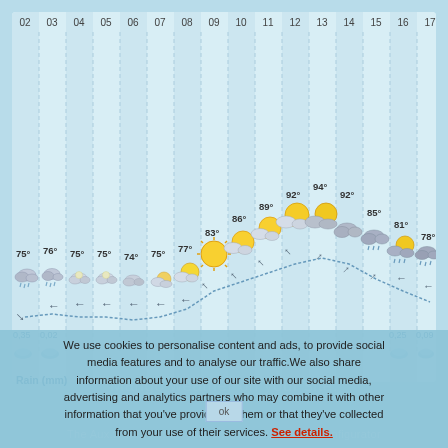[Figure (other): Hourly weather forecast chart showing hours 02-17 along the x-axis with temperature readings, weather icons (rain/cloud/sun), wind direction arrows, and precipitation amounts. Temperatures range from 74° at hour 06 to 94° at hour 13. Rain amounts of 0.35mm at hour 02, 0.02mm at hour 03, 0.25mm at hour 16, and 0.09mm at hour 17.]
Rain (mm)
We use cookies to personalise content and ads, to provide social media features and to analyse our traffic. We also share information about your use of our site with our social media, advertising and analytics partners who may combine it with other information that you've provided to them or that they've collected from your use of their services. See details.
Mango weather on your site.
The Aux.tv weather on your site. Simply visit our configurator